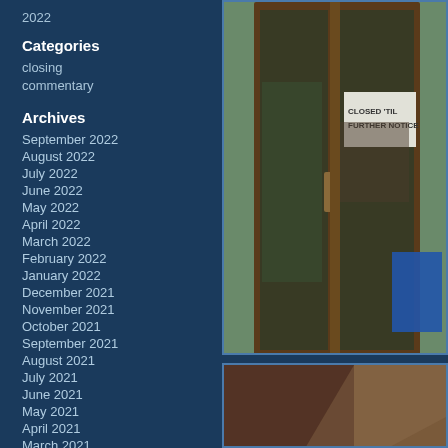2022
Categories
closing
commentary
Archives
September 2022
August 2022
July 2022
June 2022
May 2022
April 2022
March 2022
February 2022
January 2022
December 2021
November 2021
October 2021
September 2021
August 2021
July 2021
June 2021
May 2021
April 2021
March 2021
[Figure (photo): A glass door entrance to a business with a handwritten sign reading CLOSED TIL FURTHER NOTICE. The door has a wooden frame and is photographed from outside.]
[Figure (photo): Partial view of an interior or exterior surface showing dark reddish-brown tones.]